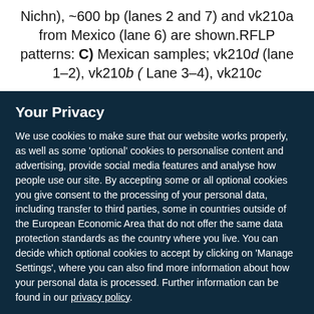Nichn), ~600 bp (lanes 2 and 7) and vk210a from Mexico (lane 6) are shown.RFLP patterns: C) Mexican samples; vk210d (lane 1–2), vk210b ( Lane 3–4), vk210c
Your Privacy
We use cookies to make sure that our website works properly, as well as some 'optional' cookies to personalise content and advertising, provide social media features and analyse how people use our site. By accepting some or all optional cookies you give consent to the processing of your personal data, including transfer to third parties, some in countries outside of the European Economic Area that do not offer the same data protection standards as the country where you live. You can decide which optional cookies to accept by clicking on 'Manage Settings', where you can also find more information about how your personal data is processed. Further information can be found in our privacy policy.
Accept all cookies
Manage preferences